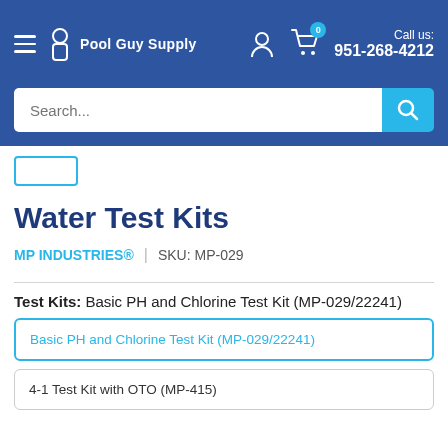Pool Guy Supply | Call us: 951-268-4212
Water Test Kits
MP INDUSTRIES® | SKU: MP-029
Test Kits: Basic PH and Chlorine Test Kit (MP-029/22241)
Basic PH and Chlorine Test Kit (MP-029/22241)
4-1 Test Kit with OTO (MP-415)